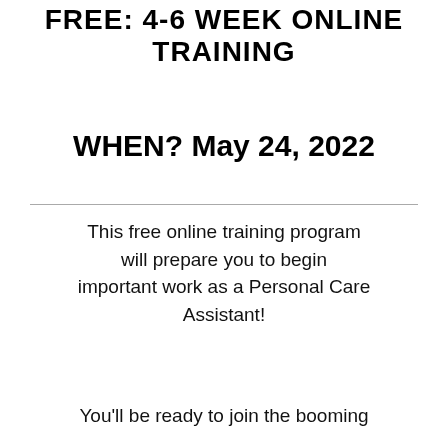FREE: 4-6 WEEK ONLINE TRAINING
WHEN? May 24, 2022
This free online training program will prepare you to begin important work as a Personal Care Assistant!
You'll be ready to join the booming